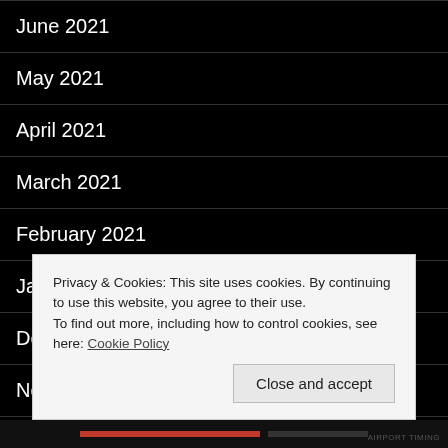June 2021
May 2021
April 2021
March 2021
February 2021
January 2021
December 2020
November 2020
October 2020
Privacy & Cookies: This site uses cookies. By continuing to use this website, you agree to their use.
To find out more, including how to control cookies, see here: Cookie Policy
Close and accept